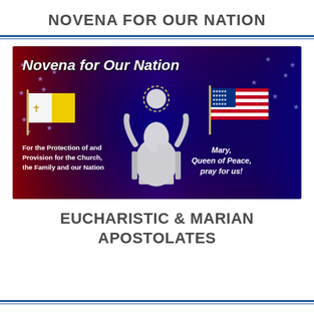NOVENA FOR OUR NATION
[Figure (illustration): Promotional banner for 'Novena for Our Nation' featuring a marble statue of Mary holding the Christ child in the center, a Vatican flag on the left, an American flag on the right, on a patriotic red-white-blue background with stars. Left text: 'For the Protection of and Provision for the Church, the Family and our Nation'. Right text: 'Mary, Queen of Peace, pray for us!']
EUCHARISTIC & MARIAN APOSTOLATES